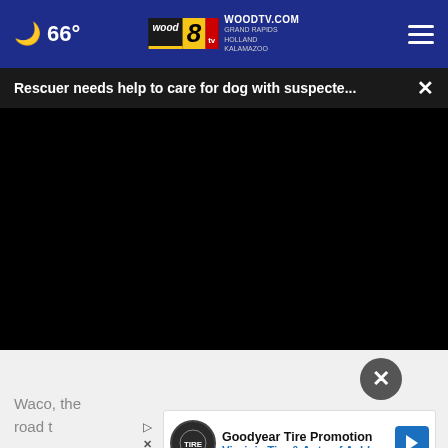66° WOODTV.COM GRAND RAPIDS HOLLAND KALAMAZOO
Rescuer needs help to care for dog with suspecte...
[Figure (screenshot): Black video player area embedded in webpage]
Waco, the road t
[Figure (other): Goodyear Tire Promotion advertisement banner - Virginia Tire & Auto of Ashburn]